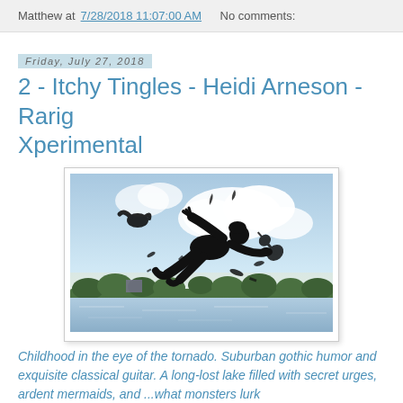Matthew at 7/28/2018 11:07:00 AM   No comments:
Friday, July 27, 2018
2 - Itchy Tingles - Heidi Arneson - Rarig Xperimental
[Figure (illustration): Painting of a black silhouetted figure leaping/flying horizontally against a bright sky with clouds, lake and treeline below. Various dark objects (birds, fish, guitar) swirl around the figure.]
Childhood in the eye of the tornado. Suburban gothic humor and exquisite classical guitar. A long-lost lake filled with secret urges, ardent mermaids, and ...what monsters lurk